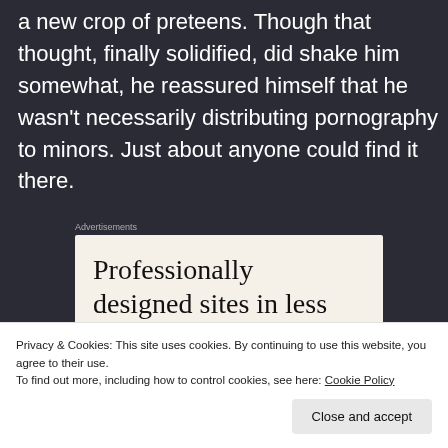a new crop of preteens. Though that thought, finally solidified, did shake him somewhat, he reassured himself that he wasn't necessarily distributing pornography to minors. Just about anyone could find it there.
[Figure (screenshot): Advertisement box with cream background showing partial text 'Professionally designed sites in less' in large serif font, with 'Advertisements' label above]
Privacy & Cookies: This site uses cookies. By continuing to use this website, you agree to their use.
To find out more, including how to control cookies, see here: Cookie Policy